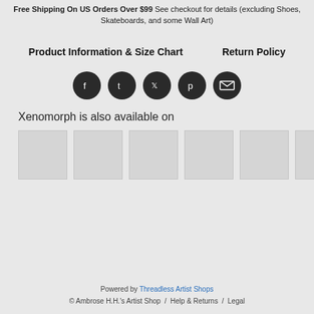Free Shipping On US Orders Over $99 See checkout for details (excluding Shoes, Skateboards, and some Wall Art)
Product Information & Size Chart    Return Policy
[Figure (other): Social share icons: Facebook, Tumblr, Twitter, Pinterest, Email — dark circular buttons]
Xenomorph is also available on
[Figure (other): Six gray placeholder thumbnail boxes for other available products]
Powered by Threadless Artist Shops
© Ambrose H.H.'s Artist Shop / Help & Returns / Legal